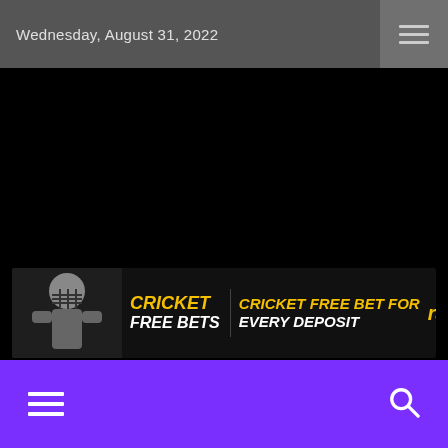Wednesday, August 31, 2022
[Figure (photo): Large black area representing a video or image placeholder, with a cricket betting advertisement banner (RajaBets - Cricket Free Bet For Every Deposit) overlaid near the bottom]
Navigation bar with hamburger menu and search icon on purple background